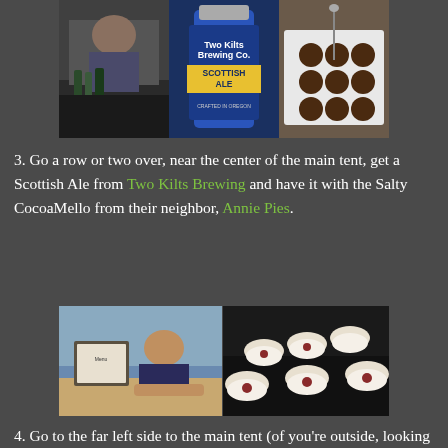[Figure (photo): Collage of three photos: left shows a bearded man at a booth with beer bottles, center shows a Two Kilts Brewing Co. Scottish Ale can/bottle closeup, right shows small round chocolate desserts on a white tray]
3. Go a row or two over, near the center of the main tent, get a Scottish Ale from Two Kilts Brewing and have it with the Salty CocoaMello from their neighbor, Annie Pies.
[Figure (photo): Two photos side by side: left shows a young man sitting at a table with a framed menu/sign, right shows multiple white bowls with food (tuna dish) arranged on a dark tablecloth]
4. Go to the far left side to the main tent (of you're outside, looking in), grab a Buoy Beer Co. Cream Ale and the Wasabi Tuna with